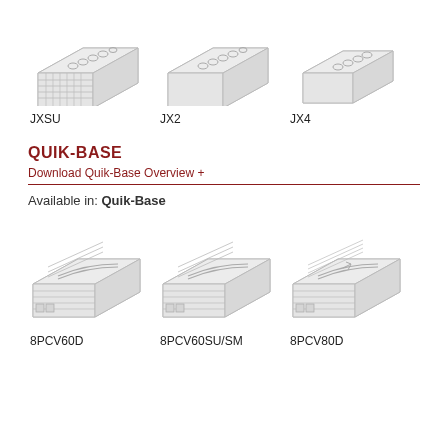[Figure (illustration): Isometric technical illustration of JXSU connector block]
[Figure (illustration): Isometric technical illustration of JX2 connector block]
[Figure (illustration): Isometric technical illustration of JX4 connector block]
JXSU
JX2
JX4
QUIK-BASE
Download Quik-Base Overview +
Available in: Quik-Base
[Figure (illustration): Isometric technical illustration of 8PCV60D connector block]
[Figure (illustration): Isometric technical illustration of 8PCV60SU/SM connector block]
[Figure (illustration): Isometric technical illustration of 8PCV80D connector block]
8PCV60D
8PCV60SU/SM
8PCV80D